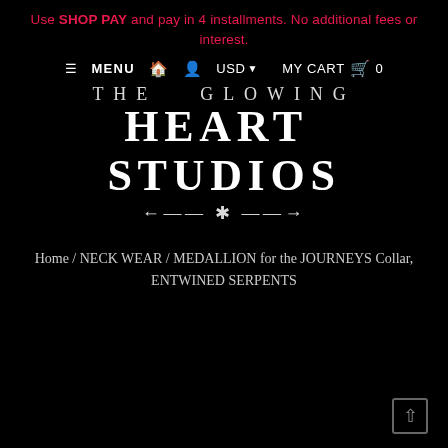Use SHOP PAY and pay in 4 installments. No additional fees or interest.
≡ MENU  🏠  👤  USD ▾  MY CART 🛍 0
[Figure (logo): The Glowing Heart Studios logo: ornate serif text reading 'THE GLOWING / HEART STUDIOS' with decorative asterisk ornament line beneath, white on black background]
Home / NECK WEAR / MEDALLION for the JOURNEYS Collar, ENTWINED SERPENTS